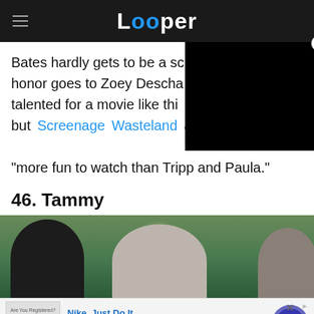Looper
Bates hardly gets to be a scene-stealer. That honor goes to Zoey Deschanel, who is too talented for a movie like this — but Screenage Wasteland acknowledged she is "more fun to watch than Tripp and Paula."
46. Tammy
[Figure (photo): Photo showing the tops of three people's heads against a green outdoor background, likely promotional image for the movie Tammy.]
[Figure (other): Nike advertisement bar at bottom: Nike. Just Do It. Inspiring the world's athletes, Nike delivers the deals. www.nike.com. With play button circle on right.]